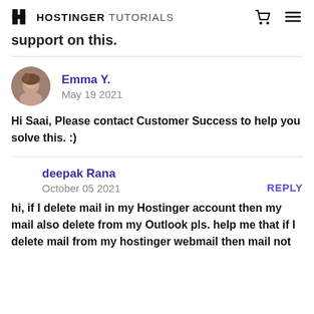HOSTINGER TUTORIALS
support on this.
Emma Y.
May 19 2021
Hi Saai, Please contact Customer Success to help you solve this. :)
deepak Rana
October 05 2021
hi, if I delete mail in my Hostinger account then my mail also delete from my Outlook pls. help me that if I delete mail from my hostinger webmail then mail not